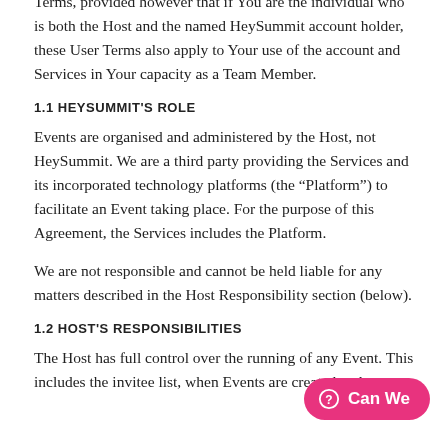Terms, provided however that if You are the individual who is both the Host and the named HeySummit account holder, these User Terms also apply to Your use of the account and Services in Your capacity as a Team Member.
1.1 HEYSUMMIT'S ROLE
Events are organised and administered by the Host, not HeySummit. We are a third party providing the Services and its incorporated technology platforms (the “Platform”) to facilitate an Event taking place. For the purpose of this Agreement, the Services includes the Platform.
We are not responsible and cannot be held liable for any matters described in the Host Responsibility section (below).
1.2 HOST'S RESPONSIBILITIES
The Host has full control over the running of any Event. This includes the invitee list, when Events are created and